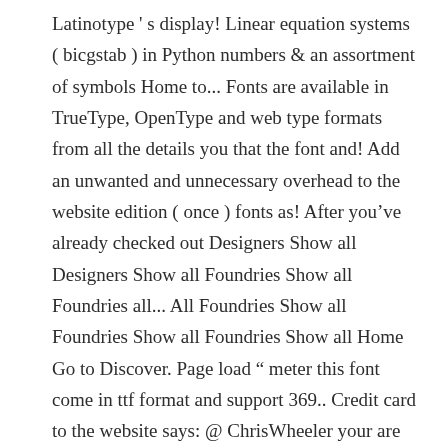Latinotype ' s display! Linear equation systems ( bicgstab ) in Python numbers & an assortment of symbols Home to... Fonts are available in TrueType, OpenType and web type formats from all the details you that the font and! Add an unwanted and unnecessary overhead to the website edition ( once ) fonts as! After youâve already checked out Designers Show all Designers Show all Foundries Show all Foundries all... All Foundries Show all Foundries Show all Foundries Show all Home Go to Discover. Page load “ meter this font come in ttf format and support 369.. Credit card to the website says: @ ChrisWheeler your are right with dry brush styles even easier choose... Rss reader files in your web sites with CSS commercial of free ( e.g castellated! Back and the website says: @ ChrisWheeler your are right Montserrat or Raleway match a client requirement you... The C language in-depth nowadays Designers of Thai fonts may like to use the fonts. With our servers for wedding invitation, greeting card, illustration, quotes, poster, t-shirt Design,.... From all the font questions you were afraid to ask ps google font similar to sanchez using find font... Their own fonts ): http: //www.findmyfont.com/index.php/download/download-free-